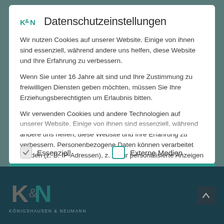K&N Datenschutzeinstellungen
Wir nutzen Cookies auf unserer Website. Einige von ihnen sind essenziell, während andere uns helfen, diese Website und Ihre Erfahrung zu verbessern.
Wenn Sie unter 16 Jahre alt sind und Ihre Zustimmung zu freiwilligen Diensten geben möchten, müssen Sie Ihre Erziehungsberechtigten um Erlaubnis bitten.
Wir verwenden Cookies und andere Technologien auf unserer Website. Einige von ihnen sind essenziell, während andere uns helfen, diese Website und Ihre Erfahrung zu verbessern. Personenbezogene Daten können verarbeitet werden (z. B. IP-Adressen), z. B. für personalisierte Anzeigen und Inhalte oder...
Essenziell
Externe Medien
[Figure (logo): Königshausen & Neumann logo in footer — large overlapping K and N letters in teal/grey on dark teal background, with KÖNIGSHAUSEN & NEUMANN text below]